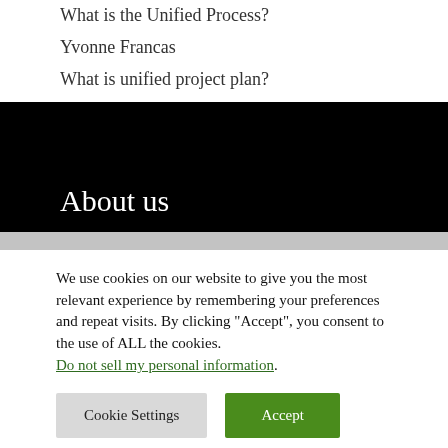What is the Unified Process?
Yvonne Francas
What is unified project plan?
About us
We use cookies on our website to give you the most relevant experience by remembering your preferences and repeat visits. By clicking “Accept”, you consent to the use of ALL the cookies. Do not sell my personal information.
Cookie Settings
Accept